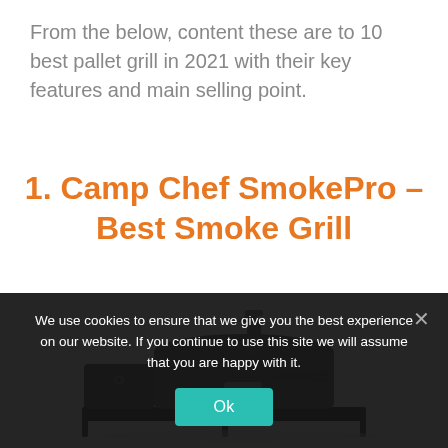From the below, content these are to 10 best pallet grill in 2021 with their key features and main selling point.
1. Camp Chef SmokePro – Best Smoke Grill
[Figure (photo): Photograph of a Camp Chef SmokePro pellet grill, dark grey barrel-style smoker grill with chimney and side shelf on a flat base.]
We use cookies to ensure that we give you the best experience on our website. If you continue to use this site we will assume that you are happy with it.